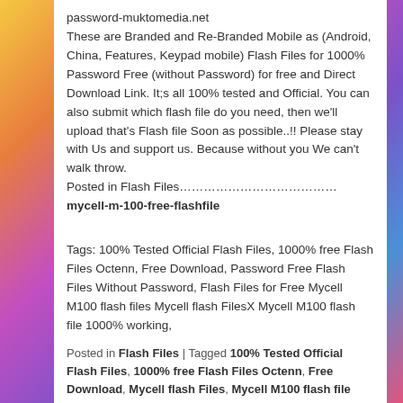password-muktomedia.net
These are Branded and Re-Branded Mobile as (Android, China, Features, Keypad mobile) Flash Files for 1000% Password Free (without Password) for free and Direct Download Link. It;s all 100% tested and Official. You can also submit which flash file do you need, then we'll upload that's Flash file Soon as possible..!! Please stay with Us and support us. Because without you We can't walk throw.
Posted in Flash Files……………………………….
mycell-m-100-free-flashfile
Tags: 100% Tested Official Flash Files, 1000% free Flash Files Octenn, Free Download, Password Free Flash Files Without Password, Flash Files for Free Mycell M100 flash files Mycell flash FilesX Mycell M100 flash file 1000% working,
Posted in Flash Files | Tagged 100% Tested Official Flash Files, 1000% free Flash Files Octenn, Free Download, Mycell flash Files, Mycell M100 flash file 1000% working,